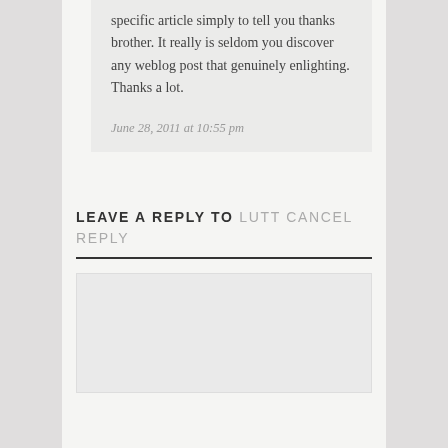specific article simply to tell you thanks brother. It really is seldom you discover any weblog post that genuinely enlighting. Thanks a lot.
June 28, 2011 at 10:55 pm
LEAVE A REPLY TO LUTT CANCEL REPLY
[Figure (other): Empty reply text area input box]